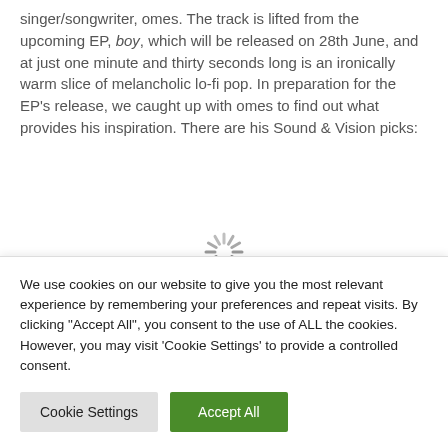singer/songwriter, omes. The track is lifted from the upcoming EP, boy, which will be released on 28th June, and at just one minute and thirty seconds long is an ironically warm slice of melancholic lo-fi pop. In preparation for the EP's release, we caught up with omes to find out what provides his inspiration. There are his Sound & Vision picks:
[Figure (other): Loading spinner (animated circle of dashes) indicating content is loading]
We use cookies on our website to give you the most relevant experience by remembering your preferences and repeat visits. By clicking "Accept All", you consent to the use of ALL the cookies. However, you may visit 'Cookie Settings' to provide a controlled consent.